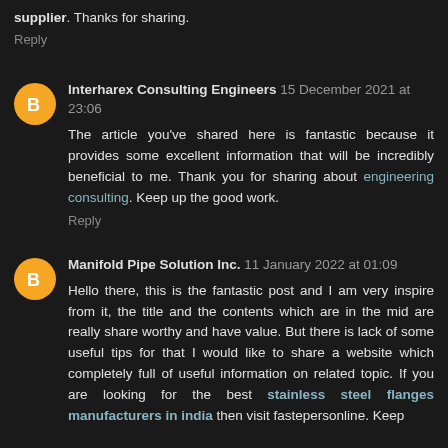supplier. Thanks for sharing.
Reply
Interharex Consulting Engineers 15 December 2021 at 23:06
The article you've shared here is fantastic because it provides some excellent information that will be incredibly beneficial to me. Thank you for sharing about engineering consulting. Keep up the good work.
Reply
Manifold Pipe Solution Inc. 11 January 2022 at 01:09
Hello there, this is the fantastic post and I am very inspire from it, the title and the contents which are in the mid are really share worthy and have value. But there is lack of some useful tips for that I would like to share a website which completely full of useful information on related topic. If you are looking for the best stainless steel flanges manufacturers in india then visit fastepersonline. Keep